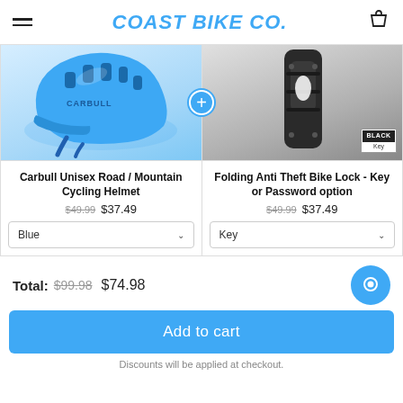COAST BIKE CO.
[Figure (photo): Blue Carbull cycling helmet product image]
[Figure (photo): Black folding bike lock product image with BLACK Key badge]
Carbull Unisex Road / Mountain Cycling Helmet
$49.99  $37.49
Blue (dropdown)
Folding Anti Theft Bike Lock - Key or Password option
$49.99  $37.49
Key (dropdown)
Total: $99.98  $74.98
Add to cart
Discounts will be applied at checkout.